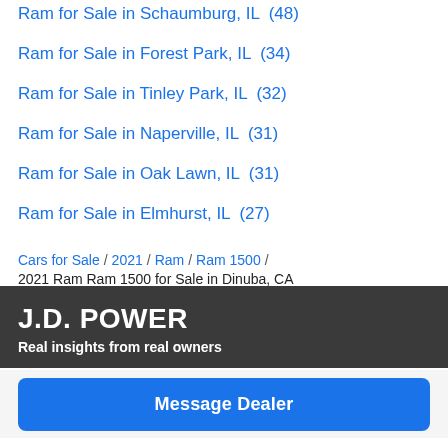Ram for Sale in Schaumburg, IL  (48)
Ram for Sale in Forest Park, IL  (34)
Ram for Sale in Tinley Park, IL  (32)
Ram for Sale in Naperville, IL  (31)
Ram for Sale in Oak Lawn, IL  (31)
Ram for Sale in Elmhurst, IL  (27)
Cars for Sale / 2021 / Ram / Ram 1500 / 2021 Ram Ram 1500 for Sale in Dinuba, CA
J.D. POWER
Real insights from real owners
Message Dealer